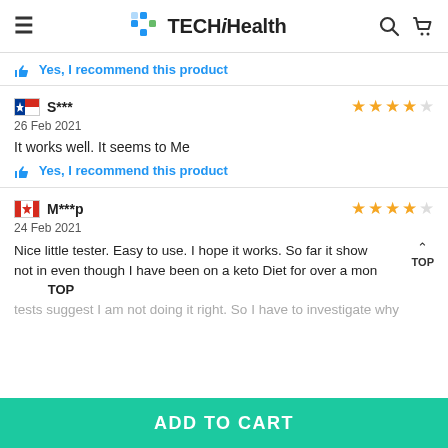TECHiHealth
Yes, I recommend this product
S*** — 26 Feb 2021 — 4 stars
It works well. It seems to Me
Yes, I recommend this product
M***p — 24 Feb 2021 — 4 stars
Nice little tester. Easy to use. I hope it works. So far it show not in even though I have been on a keto Diet for over a mon tests suggest I am not doing it right. So I have to investigate why
ADD TO CART